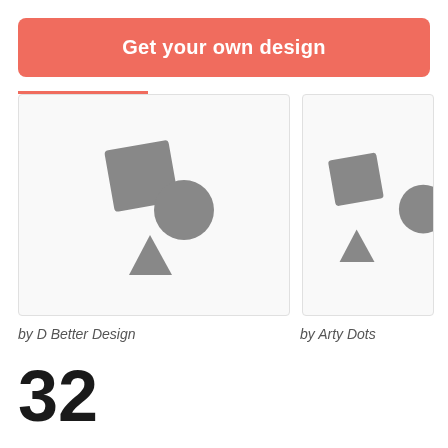Get your own design
[Figure (illustration): Placeholder image with grey square, circle, and triangle shapes on white background - by D Better Design]
[Figure (illustration): Placeholder image with grey square, circle, and triangle shapes on white background (partially visible) - by Arty Dots]
by D Better Design
by Arty Dots
32